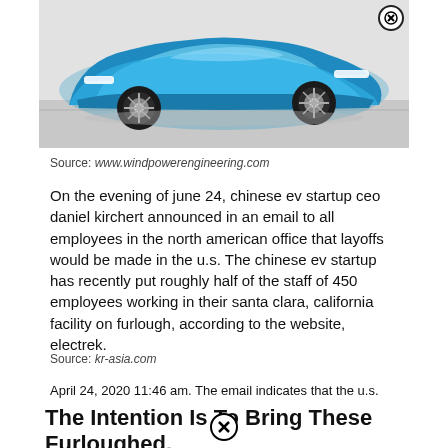[Figure (photo): Blue concept electric vehicle (SUV/crossover) photographed in a studio setting, shown from a front three-quarter angle against a light grey floor background.]
Source: www.windpowerengineering.com
On the evening of june 24, chinese ev startup ceo daniel kirchert announced in an email to all employees in the north american office that layoffs would be made in the u.s. The chinese ev startup has recently put roughly half of the staff of 450 employees working in their santa clara, california facility on furlough, according to the website, electrek.
Source: kr-asia.com
April 24, 2020 11:46 am. The email indicates that the u.s.
The Intention Is To Bring These Furloughed.